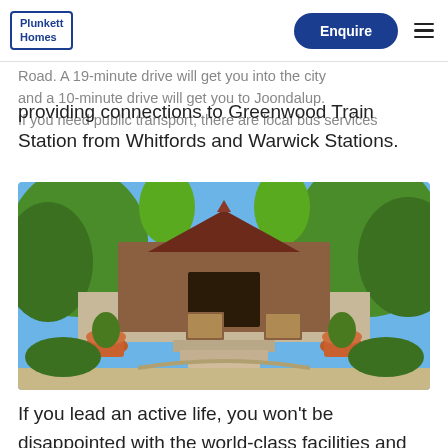Plunkett Homes | Enquire
Road. A 19-minute drive will get you into the city and a 10-minute drive will get you to Joondalup. If you need public transport, there are local bus services providing connections to Greenwood Train Station from Whitfords and Warwick Stations.
[Figure (photo): Exterior of a building with stone steps leading up to the entrance, flanked by terracotta pots with plants, surrounded by green trees under a blue sky.]
If you lead an active life, you won't be disappointed with the world-class facilities and nature reserves on offer; including Penistone Reserve providing cricket, lacrosse, football and soccer facilities, Blackall Reserve with both a concrete and